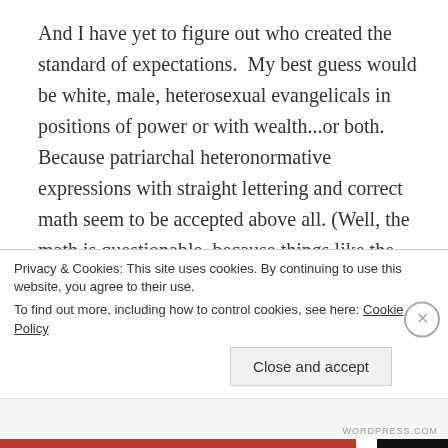And I have yet to figure out who created the standard of expectations.  My best guess would be white, male, heterosexual evangelicals in positions of power or with wealth...or both.  Because patriarchal heteronormative expressions with straight lettering and correct math seem to be accepted above all. (Well, the math is questionable, because things like the number of shooting deaths correlating to the number of accessible handguns seem to be frequently ignored or misrepresented.) Because things that declare the norm...
Privacy & Cookies: This site uses cookies. By continuing to use this website, you agree to their use.
To find out more, including how to control cookies, see here: Cookie Policy
Close and accept